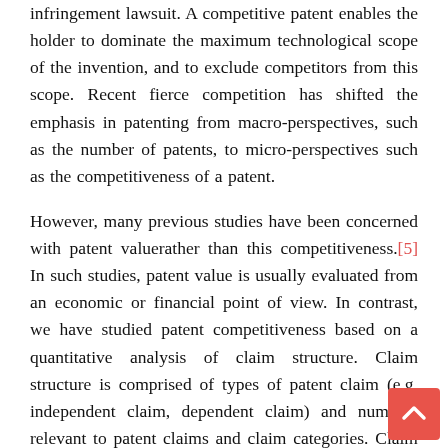infringement lawsuit. A competitive patent enables the holder to dominate the maximum technological scope of the invention, and to exclude competitors from this scope. Recent fierce competition has shifted the emphasis in patenting from macro-perspectives, such as the number of patents, to micro-perspectives such as the competitiveness of a patent.
However, many previous studies have been concerned with patent valuerather than this competitiveness.[5] In such studies, patent value is usually evaluated from an economic or financial point of view. In contrast, we have studied patent competitiveness based on a quantitative analysis of claim structure. Claim structure is comprised of types of patent claim (e.g. independent claim, dependent claim) and numbers relevant to patent claims and claim categories. Claim structure is related to overlap among patent claims of a single patent, and operational breadth of patent claims. Analysis of claim structure using multiple parameters quantitatively visualises the overlap and operational breadth